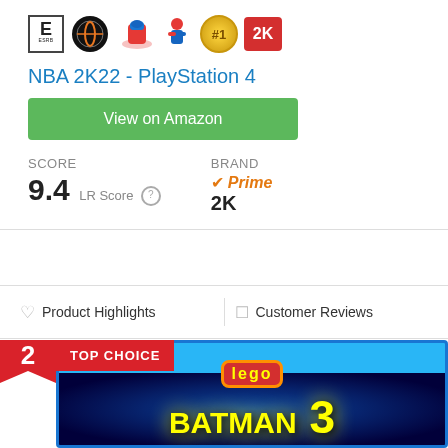[Figure (other): Product badges row: ESRB E rating, NBA logo, and other game publisher badges for NBA 2K22]
NBA 2K22 - PlayStation 4
View on Amazon
SCORE 9.4 LR Score   Brand  Prime 2K
♡ Product Highlights    ☐ Customer Reviews
2  TOP CHOICE
[Figure (photo): PS Vita game box for LEGO Batman 3: Beyond Gotham showing game cover art with dark space background, Batman silhouette, and LEGO Batman 3 Beyond Gotham title text]